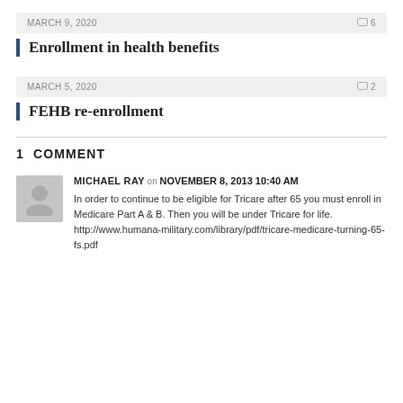MARCH 9, 2020   6
Enrollment in health benefits
MARCH 5, 2020   2
FEHB re-enrollment
1 COMMENT
MICHAEL RAY on NOVEMBER 8, 2013 10:40 AM
In order to continue to be eligible for Tricare after 65 you must enroll in Medicare Part A & B. Then you will be under Tricare for life. http://www.humana-military.com/library/pdf/tricare-medicare-turning-65-fs.pdf